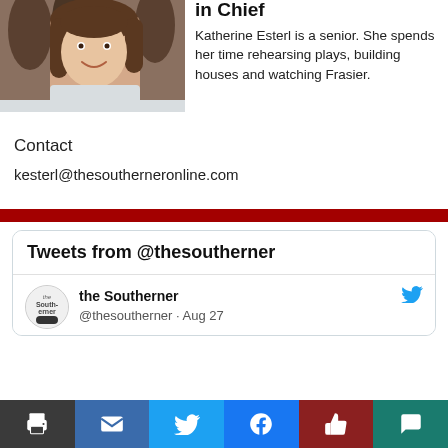[Figure (photo): Photo of Katherine Esterl, a young woman with long brown hair wearing a white t-shirt, smiling outdoors in front of trees.]
in Chief
Katherine Esterl is a senior. She spends her time rehearsing plays, building houses and watching Frasier.
Contact
kesterl@thesoutherneronline.com
[Figure (screenshot): Twitter widget showing 'Tweets from @thesoutherner' header and a tweet from 'the Southerner @thesoutherner · Aug 27' with Twitter logo.]
Print | Email | Twitter | Facebook | Like | Comment — social sharing bar